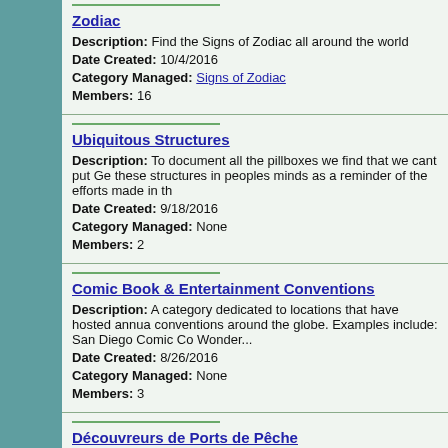Zodiac
Description: Find the Signs of Zodiac all around the world
Date Created: 10/4/2016
Category Managed: Signs of Zodiac
Members: 16
Ubiquitous Structures
Description: To document all the pillboxes we find that we cant put Ge these structures in peoples minds as a reminder of the efforts made in th
Date Created: 9/18/2016
Category Managed: None
Members: 2
Comic Book & Entertainment Conventions
Description: A category dedicated to locations that have hosted annua conventions around the globe. Examples include: San Diego Comic Co Wonder...
Date Created: 8/26/2016
Category Managed: None
Members: 3
Découvreurs de Ports de Pêche
Description: Discover the various fishing ports around the world
Date Created: 8/26/2016
Category Managed: Commercial Fishing Ports